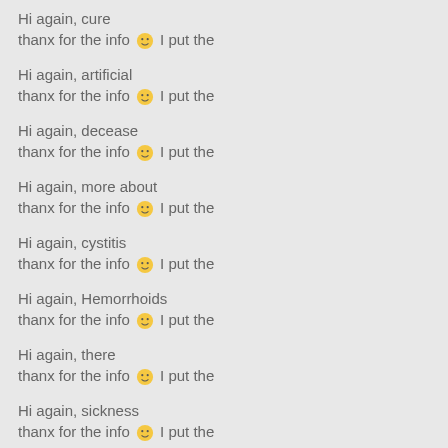Hi again, cure
thanx for the info 🙂 I put the
Hi again, artificial
thanx for the info 🙂 I put the
Hi again, decease
thanx for the info 🙂 I put the
Hi again, more about
thanx for the info 🙂 I put the
Hi again, cystitis
thanx for the info 🙂 I put the
Hi again, Hemorrhoids
thanx for the info 🙂 I put the
Hi again, there
thanx for the info 🙂 I put the
Hi again, sickness
thanx for the info 🙂 I put the
Hi again, medicine
thanx for the info 🙂 I put the